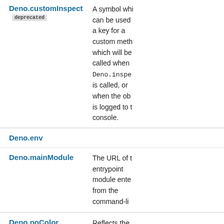| Name | Description |
| --- | --- |
| Deno.customInspect [deprecated] | A symbol which can be used as a key for a custom method which will be called when Deno.inspect is called, or when the object is logged to the console. |
| Deno.env |  |
| Deno.mainModule | The URL of the entrypoint module entered from the command-line |
| Deno.noColor | Reflects the ... |